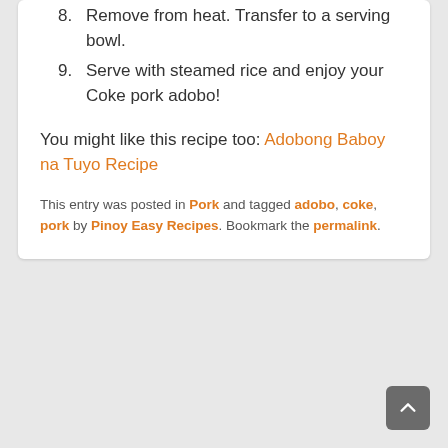8. Remove from heat. Transfer to a serving bowl.
9. Serve with steamed rice and enjoy your Coke pork adobo!
You might like this recipe too: Adobong Baboy na Tuyo Recipe
This entry was posted in Pork and tagged adobo, coke, pork by Pinoy Easy Recipes. Bookmark the permalink.